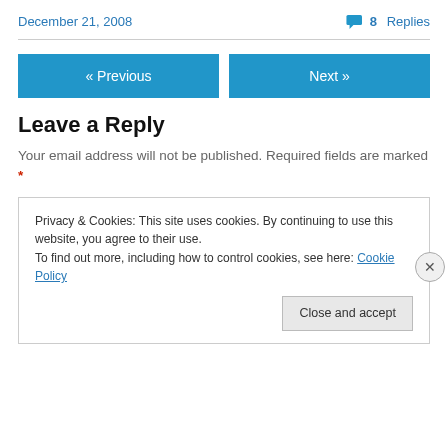December 21, 2008
💬 8 Replies
« Previous
Next »
Leave a Reply
Your email address will not be published. Required fields are marked *
Privacy & Cookies: This site uses cookies. By continuing to use this website, you agree to their use.
To find out more, including how to control cookies, see here: Cookie Policy
Close and accept